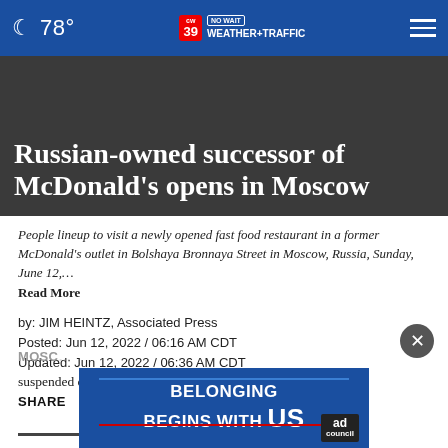78° CW39 NO WAIT WEATHER+TRAFFIC
Russian-owned successor of McDonald's opens in Moscow
People lineup to visit a newly opened fast food restaurant in a former McDonald's outlet in Bolshaya Bronnaya Street in Moscow, Russia, Sunday, June 12,… Read More
by: JIM HEINTZ, Associated Press
Posted: Jun 12, 2022 / 06:16 AM CDT
Updated: Jun 12, 2022 / 06:36 AM CDT
SHARE
MOSC…
suspended operations in Russia, hundreds of people